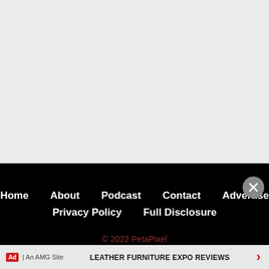[Figure (other): Large light gray blank area at top of page]
Home
About
Podcast
Contact
Advertise
Privacy Policy
Full Disclosure
© 2022 PetaPixel
Ad | An AMG Site
LEATHER FURNITURE EXPO REVIEWS